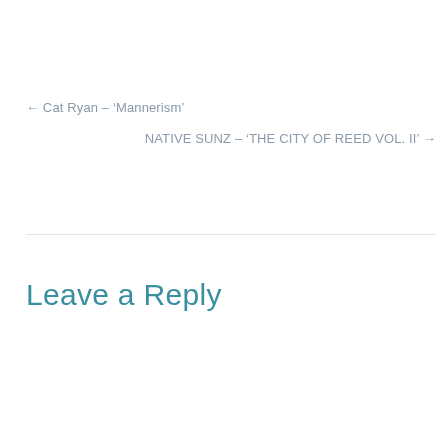← Cat Ryan – 'Mannerism'
NATIVE SUNZ – 'THE CITY OF REED VOL. II' →
Leave a Reply